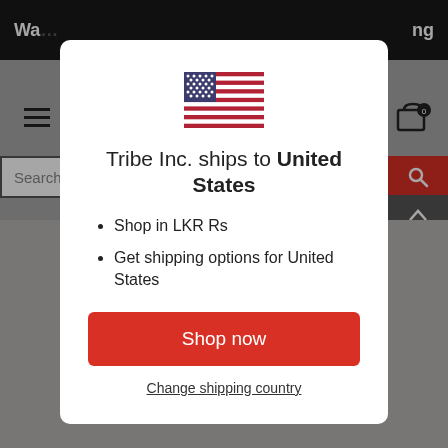[Figure (screenshot): Background of an e-commerce website with navigation bar showing 'Wa...' text, hamburger menu, cart icon, search bar, and partial product image. Overlay modal dialog visible.]
[Figure (illustration): United States flag emoji/icon]
Tribe Inc. ships to United States
Shop in LKR Rs
Get shipping options for United States
Shop now
Change shipping country